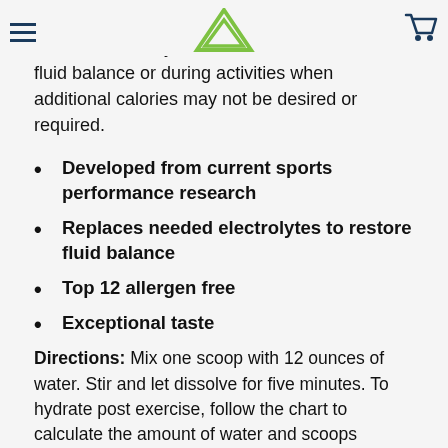[hamburger menu] [logo] [cart icon]
for effective hydration. It can be used post exercise when hydration is needed to restore fluid balance or during activities when additional calories may not be desired or required.
Developed from current sports performance research
Replaces needed electrolytes to restore fluid balance
Top 12 allergen free
Exceptional taste
Directions: Mix one scoop with 12 ounces of water. Stir and let dissolve for five minutes. To hydrate post exercise, follow the chart to calculate the amount of water and scoops needed to rehydrate.